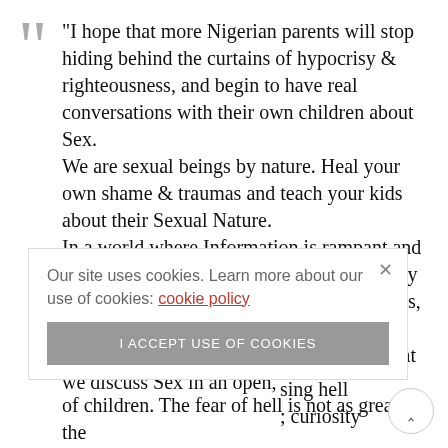“I hope that more Nigerian parents will stop hiding behind the curtains of hypocrisy & righteousness, and begin to have real conversations with their own children about Sex.
We are sexual beings by nature. Heal your own shame & traumas and teach your kids about their Sexual Nature.
In a world where Information is rampant and easily accessible, where most children today are gifted Ipads before they are gifted books, where Sex is on ever ready display at the click of a button, it is even more Urgent that we discuss Sex in an open,
their arms : the right sing hell ; curiosity
of children. The fear of hell is not as great as the